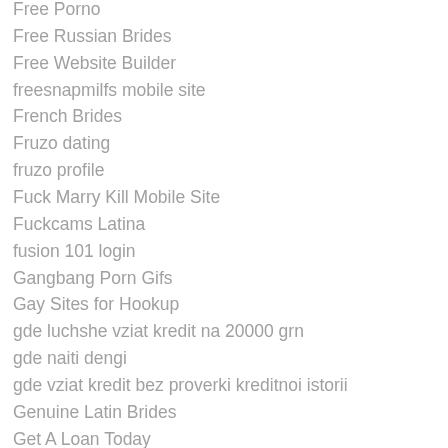Free Porno
Free Russian Brides
Free Website Builder
freesnapmilfs mobile site
French Brides
Fruzo dating
fruzo profile
Fuck Marry Kill Mobile Site
Fuckcams Latina
fusion 101 login
Gangbang Porn Gifs
Gay Sites for Hookup
gde luchshe vziat kredit na 20000 grn
gde naiti dengi
gde vziat kredit bez proverki kreditnoi istorii
Genuine Latin Brides
Get A Loan Today
getiton adult dating